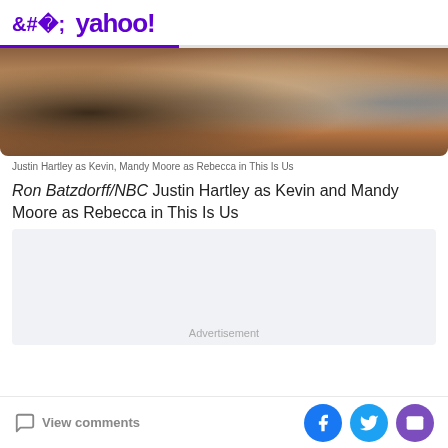< yahoo!
[Figure (photo): Blurred/close-up photo showing two people, Justin Hartley as Kevin and Mandy Moore as Rebecca, from the TV show This Is Us. The image is cropped and shows warm tones with skin and a blue garment in the background.]
Justin Hartley as Kevin, Mandy Moore as Rebecca in This Is Us
Ron Batzdorff/NBC Justin Hartley as Kevin and Mandy Moore as Rebecca in This Is Us
[Figure (other): Advertisement placeholder area with light gray/blue background]
View comments